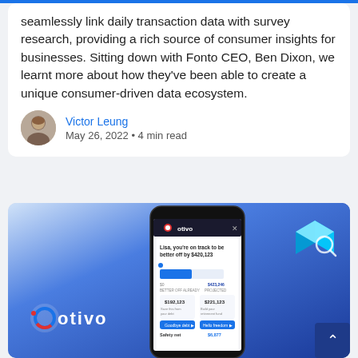seamlessly link daily transaction data with survey research, providing a rich source of consumer insights for businesses. Sitting down with Fonto CEO, Ben Dixon, we learnt more about how they've been able to create a unique consumer-driven data ecosystem.
Victor Leung
May 26, 2022 • 4 min read
[Figure (screenshot): Otivo app screenshot showing a mobile phone mockup with financial dashboard text 'Lisa, you're on track to be better off by $420,123', displaying figures like $192.123 and $221.123, with Goodbye debt and Hello freedom buttons, Safety net $6,877. Otivo logo on the left on blue gradient background with a 3D cyan cube icon top right.]